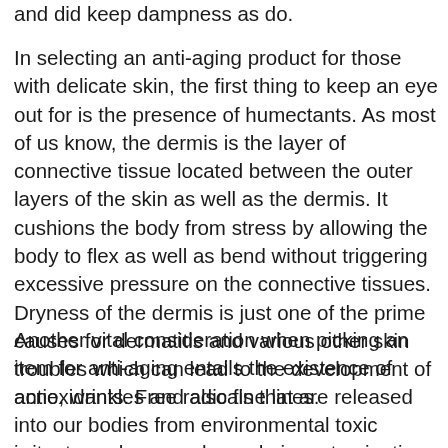and did keep dampness as do.
In selecting an anti-aging product for those with delicate skin, the first thing to keep an eye out for is the presence of humectants. As most of us know, the dermis is the layer of connective tissue located between the outer layers of the skin as well as the dermis. It cushions the body from stress by allowing the body to flex as well as bend without triggering excessive pressure on the connective tissues. Dryness of the dermis is just one of the prime causes for dermatitis and various other skin troubles which can lead to the development of acne, wrinkles and also fine lines.
Another vital consideration when picking an item for anti-aging entails the existence of antioxidants. Free radicals that are released into our bodies from environmental toxic irritants such as smoke and air contamination result in oxidative which can harm the manufacturing of collagen...